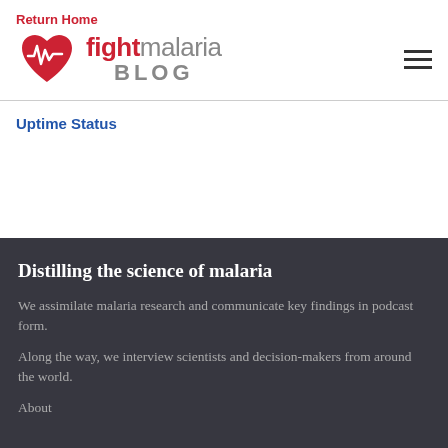Return Home
[Figure (logo): fightmalaria BLOG logo with red heart and pulse line icon]
Uptime Status
Distilling the science of malaria
We assimilate malaria research and communicate key findings in podcast form.
Along the way, we interview scientists and decision-makers from around the world.
About